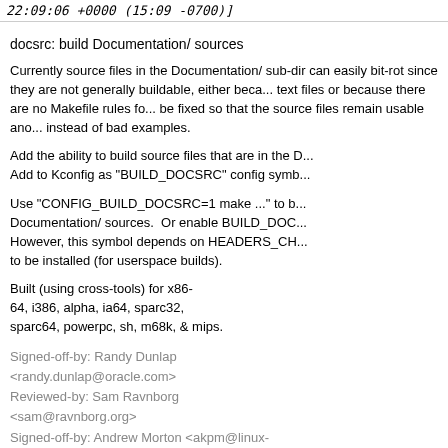22:09:06 +0000 (15:09 -0700)]
docsrc: build Documentation/ sources
Currently source files in the Documentation/ sub-dir can easily bit-rot since they are not generally buildable, either because they are just text files or because there are no Makefile rules for them. This should be fixed so that the source files remain usable and good examples instead of bad examples.
Add the ability to build source files that are in the D... Add to Kconfig as "BUILD_DOCSRC" config symb...
Use "CONFIG_BUILD_DOCSRC=1 make ..." to b... Documentation/ sources.  Or enable BUILD_DOC... However, this symbol depends on HEADERS_CH... to be installed (for userspace builds).
Built (using cross-tools) for x86-64, i386, alpha, ia64, sparc32, sparc64, powerpc, sh, m68k, & mips.
Signed-off-by: Randy Dunlap <randy.dunlap@oracle.com>
Reviewed-by: Sam Ravnborg <sam@ravnborg.org>
Signed-off-by: Andrew Morton <akpm@linux-foundation.org>
Signed-off-by: Linus Torvalds